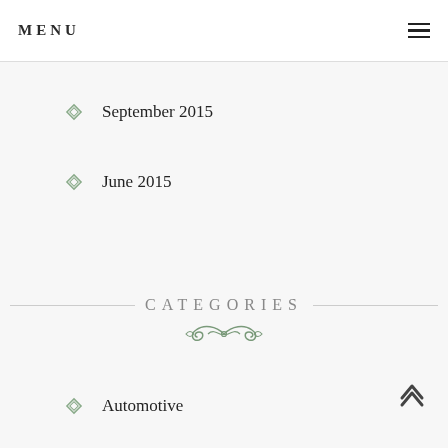MENU
September 2015
June 2015
CATEGORIES
Automotive
Business
Celeb & Style